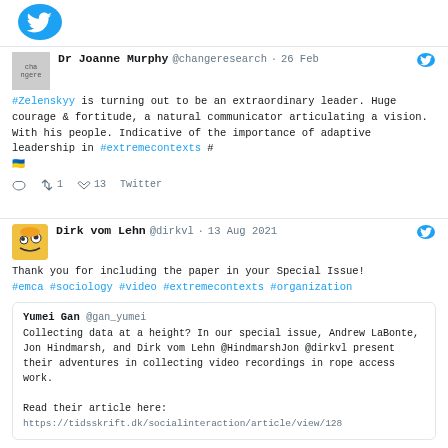[Figure (logo): Twitter bird logo icon in blue, top left]
Dr Joanne Murphy @changeresearch · 26 Feb
#Zelenskyy is turning out to be an extraordinary leader. Huge courage & fortitude, a natural communicator articulating a vision. With his people. Indicative of the importance of adaptive leadership in #extremecontexts #🇺🇦
♡ 🔁1 ♡13 Twitter
Dirk vom Lehn @dirkvl · 13 Aug 2021
Thank you for including the paper in your Special Issue!
#emca #sociology #video #extremecontexts #organization
[Quoted tweet] Yumei Gan @gan_yumei
Collecting data at a height? In our special issue, Andrew LaBonte, Jon Hindmarsh, and Dirk vom Lehn @HindmarshJon @dirkvl present their adventures in collecting video recordings in rope access work.
Read their article here:
https://tidsskrift.dk/socialinteraction/article/view/128